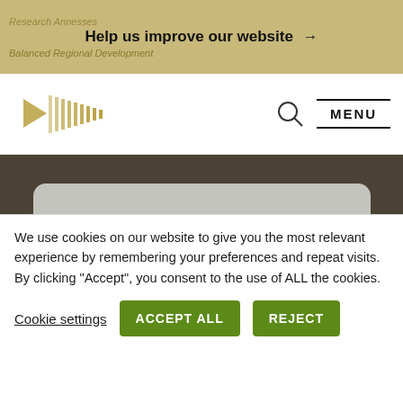Help us improve our website →
[Figure (logo): Government organization logo with gold vertical bars and triangular arrow shape]
MENU
[Figure (screenshot): Dark brown background section with gray rounded search bar]
23 Feb 2021
Response to the Public Consultation on
We use cookies on our website to give you the most relevant experience by remembering your preferences and repeat visits. By clicking "Accept", you consent to the use of ALL the cookies.
Cookie settings  ACCEPT ALL  REJECT